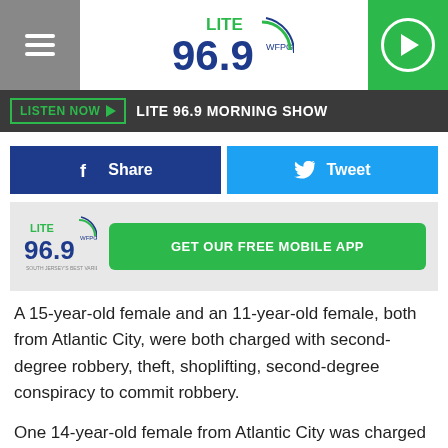[Figure (logo): Lite 96.9 WFPG radio station header with hamburger menu, logo, and play button]
LISTEN NOW ▶  LITE 96.9 MORNING SHOW
[Figure (infographic): Facebook Share and Twitter Tweet social sharing buttons]
[Figure (logo): Lite 96.9 logo with GET OUR FREE MOBILE APP button]
A 15-year-old female and an 11-year-old female, both from Atlantic City, were both charged with second-degree robbery, theft, shoplifting, second-degree conspiracy to commit robbery.
One 14-year-old female from Atlantic City was charged with second-degree robbery, fourth-degree criminal mischief, and shoplifting.